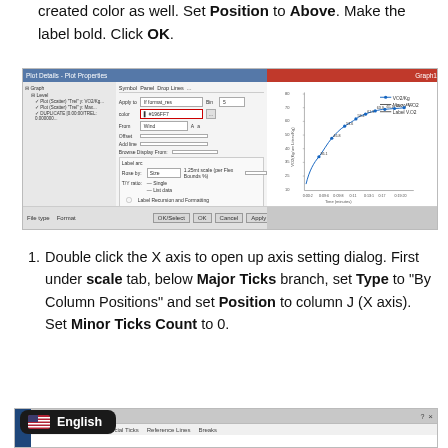created color as well. Set Position to Above. Make the label bold. Click OK.
[Figure (screenshot): Screenshot of a software dialog (Plot Details or similar) on the left showing various settings including color, label, position options with red-highlighted fields, and a scatter/line chart on the right showing VO2/Kg vs Time (minutes) data with legend entries for VO2/Kg, Maxvy V.O2, and Label V.O2.]
Double click the X axis to open up axis setting dialog. First under scale tab, below Major Ticks branch, set Type to "By Column Positions" and set Position to column J (X axis).  Set Minor Ticks Count to 0.
[Figure (screenshot): Partial screenshot of an axis settings dialog showing tabs: Grids, Line and Ticks, Special Ticks, Reference Lines, Breaks. There is also a language pill overlay showing an American flag and the text English.]